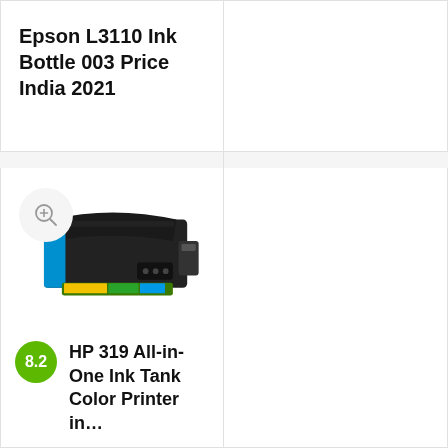Epson L3110 Ink Bottle 003 Price India 2021
[Figure (photo): HP 319 All-in-One Ink Tank Color Printer product photo with zoom icon overlay]
HP 319 All-in-One Ink Tank Color Printer in...